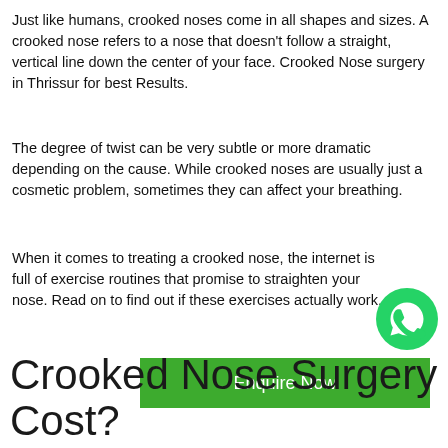Just like humans, crooked noses come in all shapes and sizes. A crooked nose refers to a nose that doesn't follow a straight, vertical line down the center of your face. Crooked Nose surgery in Thrissur for best Results.
The degree of twist can be very subtle or more dramatic depending on the cause. While crooked noses are usually just a cosmetic problem, sometimes they can affect your breathing.
When it comes to treating a crooked nose, the internet is full of exercise routines that promise to straighten your nose. Read on to find out if these exercises actually work.
[Figure (logo): WhatsApp green phone icon]
Enquire Now
Crooked Nose Surgery Cost?